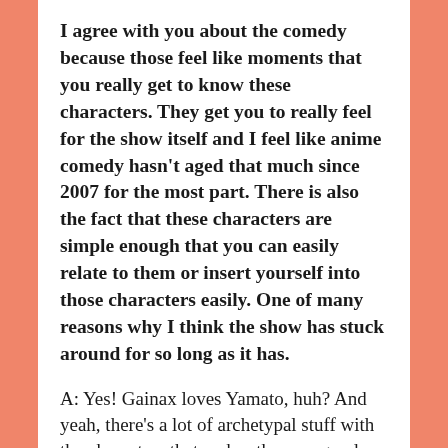I agree with you about the comedy because those feel like moments that you really get to know these characters. They get you to really feel for the show itself and I feel like anime comedy hasn't aged that much since 2007 for the most part. There is also the fact that these characters are simple enough that you can easily relate to them or insert yourself into those characters easily. One of many reasons why I think the show has stuck around for so long as it has.
A: Yes! Gainax loves Yamato, huh? And yeah, there's a lot of archetypal stuff with the characters that makes them so good. And the way it gives them a chance to grow with that